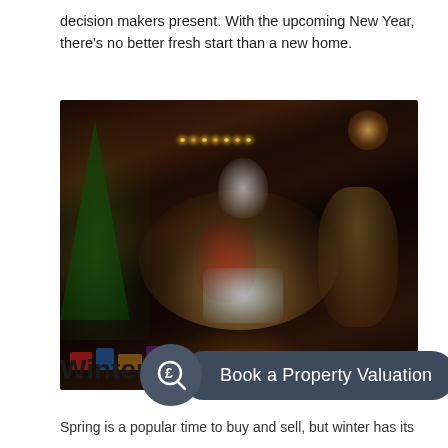decision makers present. With the upcoming New Year, there's no better fresh start than a new home.
[Figure (photo): A family of three wearing Santa hats sitting together in a warmly lit room by a Christmas tree, looking at a tablet together]
Winter...
Spring is a popular time to buy and sell, but winter has its
Book a Property Valuation